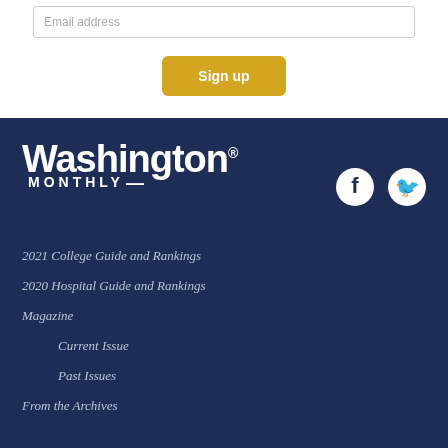Email address
Sign up
[Figure (logo): Washington Monthly logo — white text on dark navy background, large 'Washington' with registered trademark, 'MONTHLY' in smaller spaced capitals below]
[Figure (illustration): Facebook and Twitter social media icons in white circles on dark navy background]
2021 College Guide and Rankings
2020 Hospital Guide and Rankings
Magazine
Current Issue
Past Issues
From the Archives